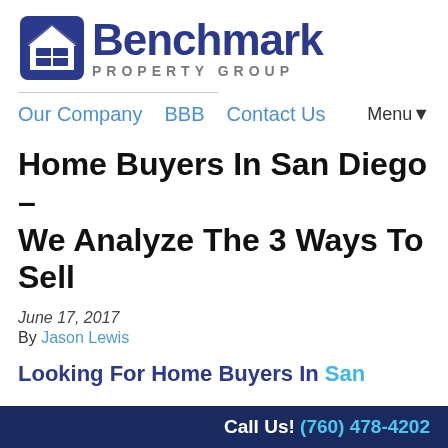[Figure (logo): Benchmark Property Group logo with house icon and company name]
Our Company   BBB   Contact Us   Menu▼
Home Buyers In San Diego – We Analyze The 3 Ways To Sell
June 17, 2017
By Jason Lewis
Looking For Home Buyers In San
Call Us! (760) 478-4202